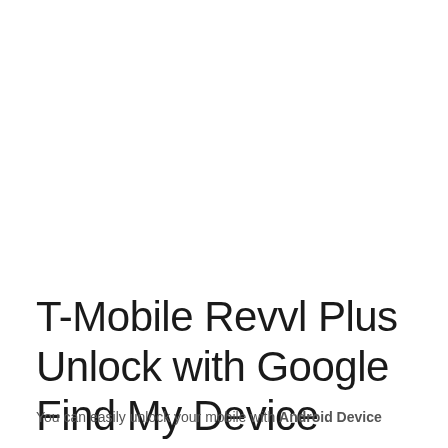T-Mobile Revvl Plus Unlock with Google Find My Device
You can easily unlock your mobile with Android Device